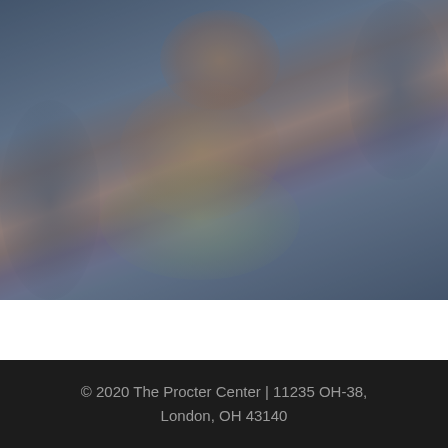[Figure (photo): A blurry, dimly lit outdoor photo of people (children/youth) gathered together, one wearing an orange Champions League-style hat/cap. The image has a dark blue-grey overlay tint.]
© 2020 The Procter Center | 11235 OH-38, London, OH 43140